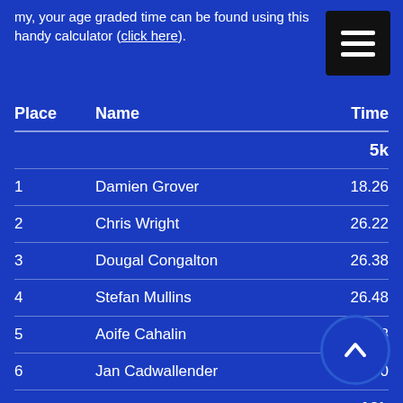my, your age graded time can be found using this handy calculator (click here).
| Place | Name | Time |
| --- | --- | --- |
| 5k |  |  |
| 1 | Damien Grover | 18.26 |
| 2 | Chris Wright | 26.22 |
| 3 | Dougal Congalton | 26.38 |
| 4 | Stefan Mullins | 26.48 |
| 5 | Aoife Cahalin | 26.48 |
| 6 | Jan Cadwallender | 36.50 |
| 10k |  |  |
| 7 | Maxence Markic | 37.12 |